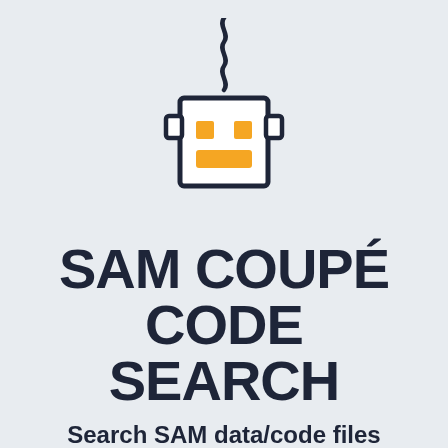[Figure (illustration): A cartoon robot head (box-shaped) with yellow square eyes and a yellow rectangular mouth, hanging from a squiggly wire/cord at the top. Drawn in a flat icon style with dark outlines on a light blue-grey background.]
SAM COUPÉ CODE SEARCH
Search SAM data/code files for specific words